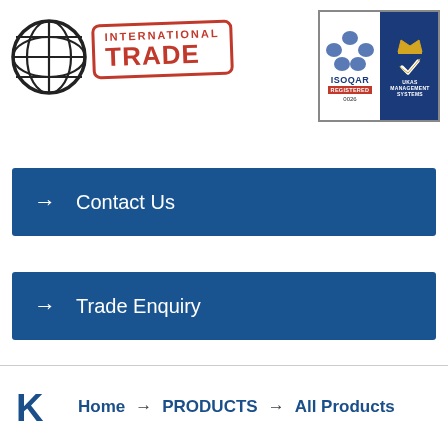[Figure (logo): International Trade logo with globe icon and red stamp text 'INTERNATIONAL TRADE', plus ISOQAR/UKAS Management Systems certification badge (0026)]
→ Contact Us
→ Trade Enquiry
Home → PRODUCTS → All Products